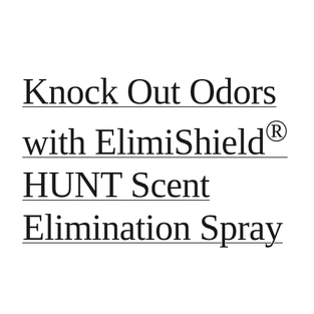Knock Out Odors with ElimiShield® HUNT Scent Elimination Spray